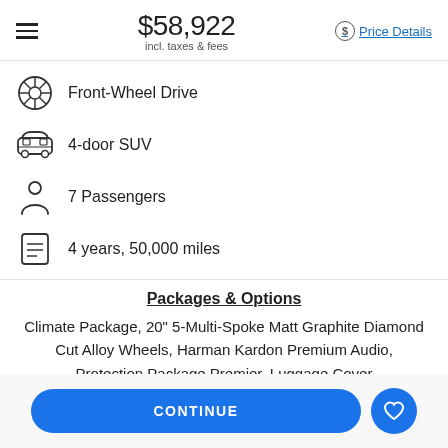$58,922 incl. taxes & fees — Price Details
Front-Wheel Drive
4-door SUV
7 Passengers
4 years, 50,000 miles
Packages & Options
Climate Package, 20" 5-Multi-Spoke Matt Graphite Diamond Cut Alloy Wheels, Harman Kardon Premium Audio, Protection Package Premier, Luggage Cover
CONTINUE